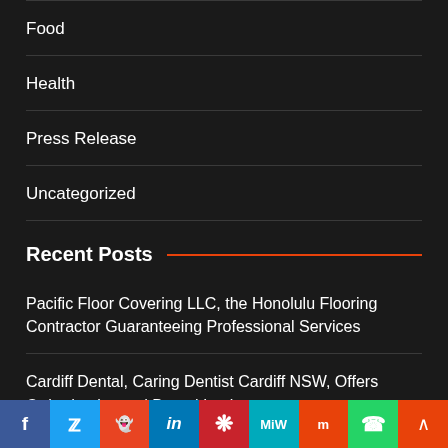Food
Health
Press Release
Uncategorized
Recent Posts
Pacific Floor Covering LLC, the Honolulu Flooring Contractor Guaranteeing Professional Services
Cardiff Dental, Caring Dentist Cardiff NSW, Offers Orthodontics and Dental Implants
Alfa Chemistry Element Reduced Hal Provision of
[Figure (infographic): Social media sharing bar with icons for Facebook, Twitter, Reddit, LinkedIn, Pinterest, MeWe, Mix, WhatsApp, and a scroll-to-top button]